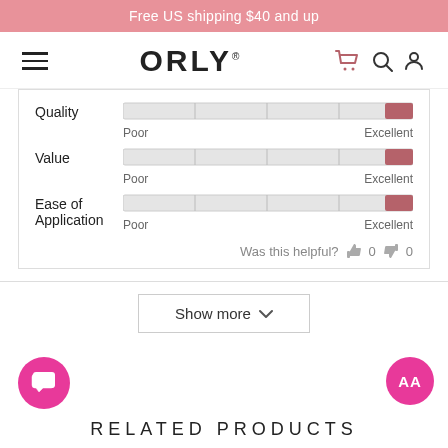Free US shipping $40 and up
[Figure (logo): ORLY brand logo with hamburger menu and nav icons]
[Figure (bar-chart): Horizontal rating bar for Quality from Poor to Excellent, filled near Excellent]
[Figure (bar-chart): Horizontal rating bar for Value from Poor to Excellent, filled near Excellent]
[Figure (bar-chart): Horizontal rating bar for Ease of Application from Poor to Excellent, filled near Excellent]
Was this helpful? 0 0
Show more
RELATED PRODUCTS